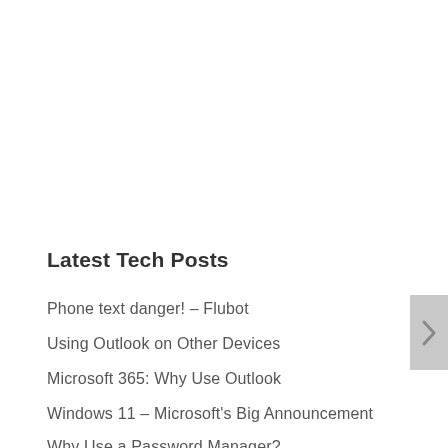Latest Tech Posts
Phone text danger! – Flubot
Using Outlook on Other Devices
Microsoft 365: Why Use Outlook
Windows 11 – Microsoft's Big Announcement
Why Use a Password Manager?